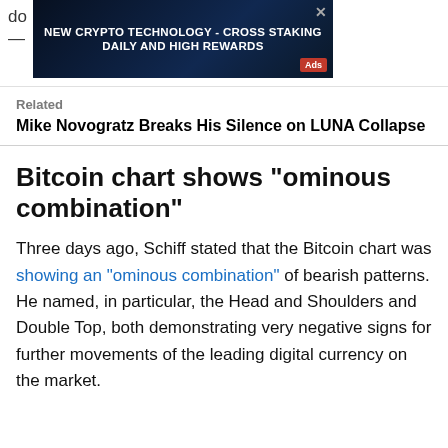[Figure (screenshot): Advertisement banner: dark blue/black background with text 'NEW CRYPTO TECHNOLOGY - CROSS STAKING DAILY AND HIGH REWARDS' with an 'Ads' badge in red and a close (X) button]
Related
Mike Novogratz Breaks His Silence on LUNA Collapse
Bitcoin chart shows "ominous combination"
Three days ago, Schiff stated that the Bitcoin chart was showing an "ominous combination" of bearish patterns. He named, in particular, the Head and Shoulders and Double Top, both demonstrating very negative signs for further movements of the leading digital currency on the market.